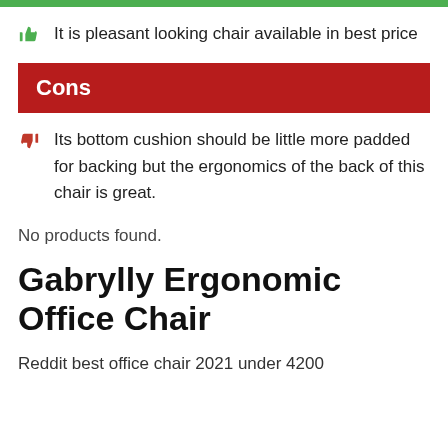It is pleasant looking chair available in best price
Cons
Its bottom cushion should be little more padded for backing but the ergonomics of the back of this chair is great.
No products found.
Gabrylly Ergonomic Office Chair
Reddit best office chair 2021 under 4200